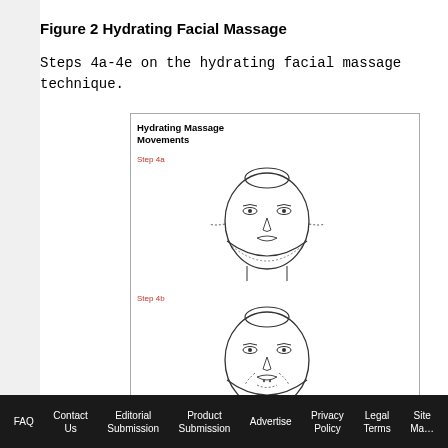Figure 2 Hydrating Facial Massage
Steps 4a-4e on the hydrating facial massage technique.
[Figure (illustration): Illustration showing hydrating massage movements with facial diagrams for Step 4a, Step 4b, and Step 4c, with arrows indicating massage directions on the face.]
FAQ   Contact Us   Editorial Submission   Product Submission   Advertise   Privacy Policy   Legal Terms   Site Ma…